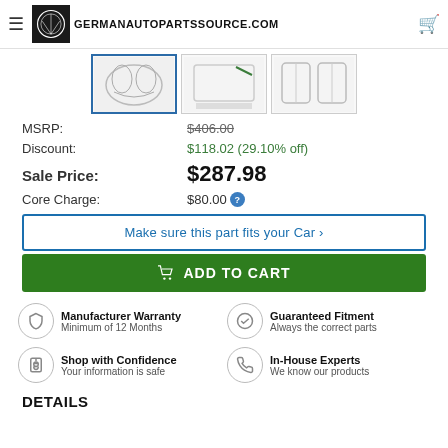GERMANAUTOPARTSSOURCE.COM
[Figure (photo): Three product thumbnail images of an auto part]
MSRP: $406.00
Discount: $118.02 (29.10% off)
Sale Price: $287.98
Core Charge: $80.00
Make sure this part fits your Car >
ADD TO CART
Manufacturer Warranty
Minimum of 12 Months
Guaranteed Fitment
Always the correct parts
Shop with Confidence
Your information is safe
In-House Experts
We know our products
DETAILS